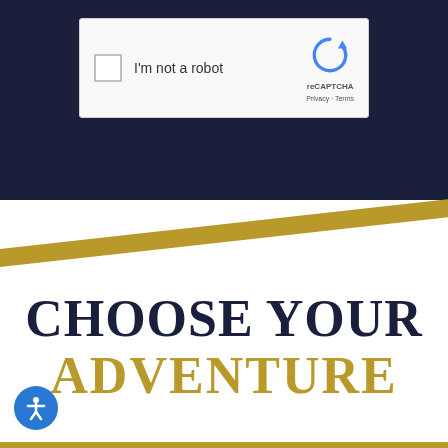[Figure (screenshot): reCAPTCHA widget showing a checkbox with 'I'm not a robot' text and the reCAPTCHA logo with Privacy and Terms links, displayed on a dark navy background]
CHOOSE YOUR ADVENTURE